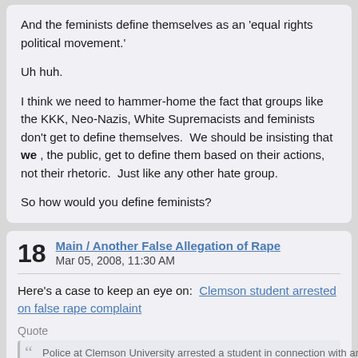And the feminists define themselves as an 'equal rights political movement.'

Uh huh.

I think we need to hammer-home the fact that groups like the KKK, Neo-Nazis, White Supremacists and feminists don't get to define themselves.  We should be insisting that we , the public, get to define them based on their actions, not their rhetoric.  Just like any other hate group.

So how would you define feminists?
18  Main / Another False Allegation of Rape
Mar 05, 2008, 11:30 AM
Here's a case to keep an eye on:  Clemson student arrested on false rape complaint
Quote